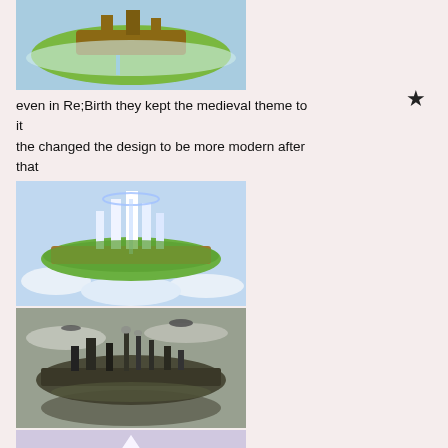[Figure (illustration): Fantasy floating island with medieval castle, green vegetation, waterfall, clouds below]
even in Re;Birth they kept the medieval theme to it
the changed the design to be more modern after that
[Figure (illustration): Modern floating island with futuristic white city, mountains, surrounded by clouds]
[Figure (illustration): Dark industrial floating island with factories and smokestacks, airships, dark tones]
[Figure (illustration): Snowy floating island with mountains and clouds, purple/lavender hues]
[Figure (other): Star bookmark icon on right side]